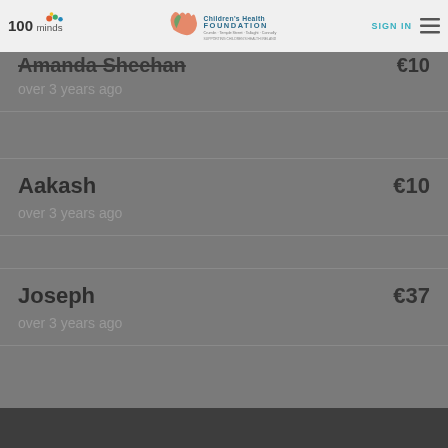100minds | Children's Health Foundation | SIGN IN
Amanda Sheehan
over 3 years ago
€10
Aakash
over 3 years ago
€10
Joseph
over 3 years ago
€37